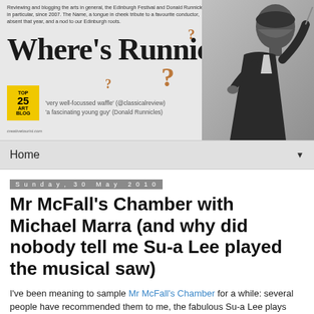[Figure (screenshot): Where's Runnicles? blog banner with tagline text, large serif title, question marks, top 25 art blog badge, quotes, and a black-and-white photo of a conductor]
Home ▼
Sunday, 30 May 2010
Mr McFall's Chamber with Michael Marra (and why did nobody tell me Su-a Lee played the musical saw)
I've been meaning to sample Mr McFall's Chamber for a while: several people have recommended them to me, the fabulous Su-a Lee plays with them and that's not to mention